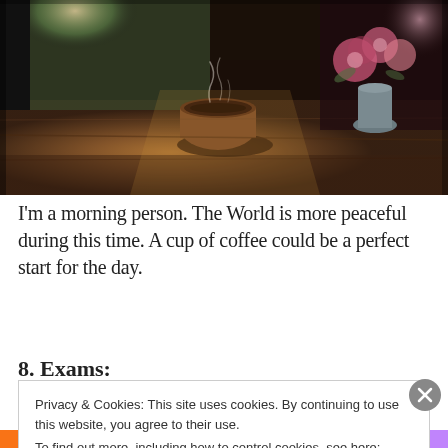[Figure (photo): A steaming cup of coffee or tea on a wooden table with a vase of pink roses and flowers, warm light coming through a window in the background. Dark atmospheric cafe/restaurant setting.]
I'm a morning person. The World is more peaceful during this time. A cup of coffee could be a perfect start for the day.
8. Exams:
Privacy & Cookies: This site uses cookies. By continuing to use this website, you agree to their use.
To find out more, including how to control cookies, see here: Cookie Policy
Close and accept